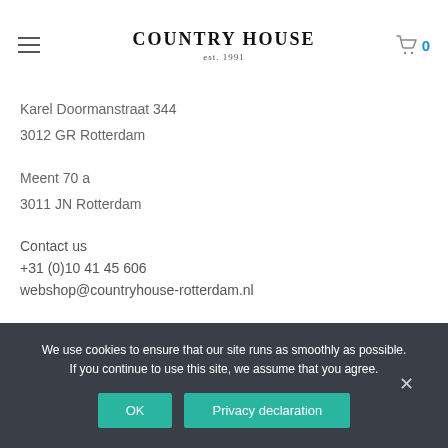COUNTRY HOUSE est. 1991
Karel Doormanstraat 344
3012 GR Rotterdam
Meent 70 a
3011 JN Rotterdam
Contact us
+31 (0)10 41 45 606
webshop@countryhouse-rotterdam.nl
We use cookies to ensure that our site runs as smoothly as possible. If you continue to use this site, we assume that you agree.